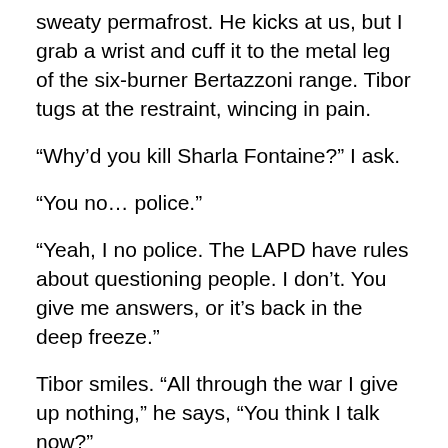sweaty permafrost. He kicks at us, but I grab a wrist and cuff it to the metal leg of the six-burner Bertazzoni range. Tibor tugs at the restraint, wincing in pain.
“Why’d you kill Sharla Fontaine?” I ask.
“You no… police.”
“Yeah, I no police. The LAPD have rules about questioning people. I don’t. You give me answers, or it’s back in the deep freeze.”
Tibor smiles. “All through the war I give up nothing,” he says, “You think I talk now?”
“So you saw a lot of action, huh? That Milosevic was no picnic for you Croatians. Drove him out of your